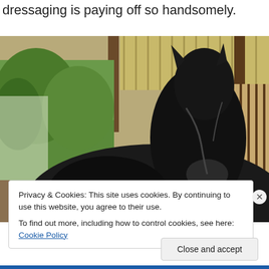dressaging is paying off so handsomely.
[Figure (photo): A dark black horse standing in a barn stall area. The horse faces slightly left toward the camera. Behind the horse are wooden stall walls with vertical slats, a yellow/tan corrugated metal wall at the back, and a box fan hanging on the stall wall. Green trees are visible through an opening to the left.]
Privacy & Cookies: This site uses cookies. By continuing to use this website, you agree to their use.
To find out more, including how to control cookies, see here: Cookie Policy
Close and accept